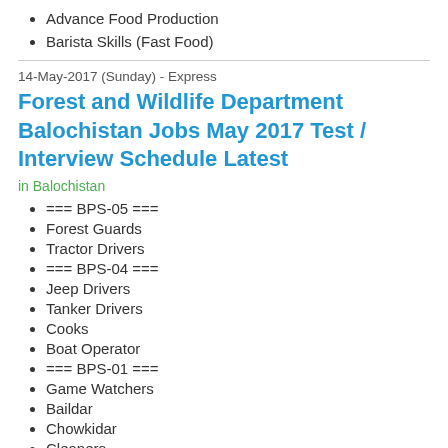Advance Food Production
Barista Skills (Fast Food)
14-May-2017 (Sunday) - Express
Forest and Wildlife Department Balochistan Jobs May 2017 Test / Interview Schedule Latest
in Balochistan
=== BPS-05 ===
Forest Guards
Tractor Drivers
=== BPS-04 ===
Jeep Drivers
Tanker Drivers
Cooks
Boat Operator
=== BPS-01 ===
Game Watchers
Baildar
Chowkidar
Cleaners
Naib Qasid